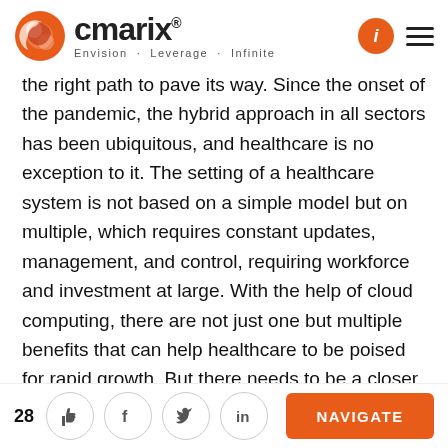cmarix® — Envision · Leverage · Infinite
the right path to pave its way. Since the onset of the pandemic, the hybrid approach in all sectors has been ubiquitous, and healthcare is no exception to it. The setting of a healthcare system is not based on a simple model but on multiple, which requires constant updates, management, and control, requiring workforce and investment at large. With the help of cloud computing, there are not just one but multiple benefits that can help healthcare to be poised for rapid growth. But there needs to be a closer look given to what exactly has to be done in and around this technology.

Healthcare and the magento cloud development are in
28 | Like | Facebook | Twitter | LinkedIn | NAVIGATE